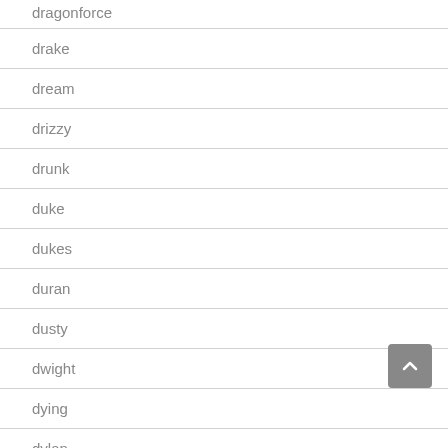dragonforce
drake
dream
drizzy
drunk
duke
dukes
duran
dusty
dwight
dying
dylan